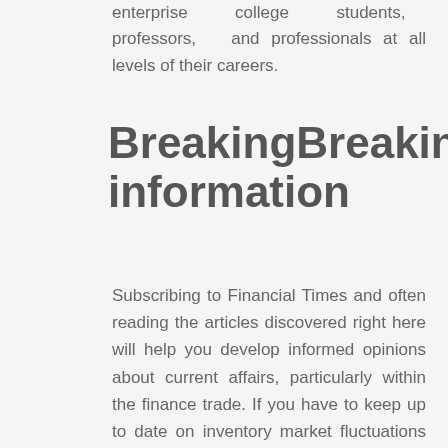enterprise college students, professors, and professionals at all levels of their careers.
BreakingBreaking information
Subscribing to Financial Times and often reading the articles discovered right here will help you develop informed opinions about current affairs, particularly within the finance trade. If you have to keep up to date on inventory market fluctuations and related investment business news, Market Watch is the web site for you. Most of the news and articles are very finance-centered, and so they specific complicated technical jargon in an easy-to-understand manner. The web site also it many also displayed that